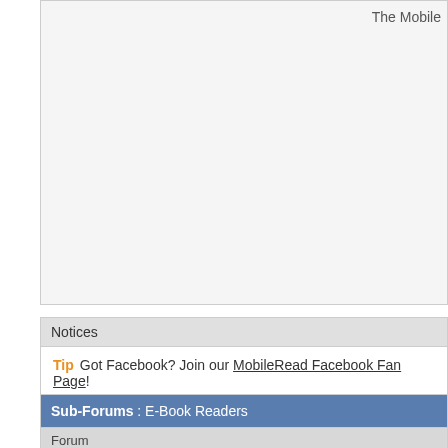The Mobile
Notices
Tip  Got Facebook? Join our MobileRead Facebook Fan Page!
Sub-Forums : E-Book Readers
Forum
Which one should I buy? — Looking for the optimal reader? Unsatisfied with all of them? Get help from forum members
Amazon Kindle — Discuss the Amazon Kindle devices and Kindle Software. Includes the Kindle 4 PC, Kindle 4 Mac and Kindle Cloud Reader.
Android Devices — Devices running an open and user expandable Android based system such as cell phones
Apple Devices